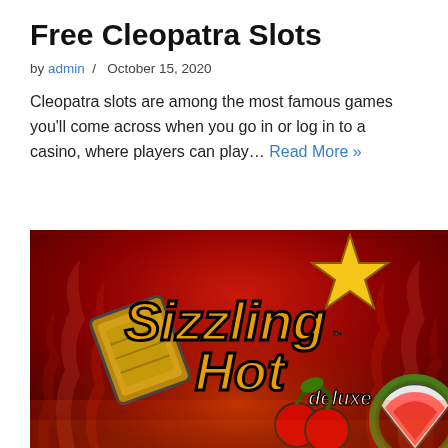Free Cleopatra Slots
by admin / October 15, 2020
Cleopatra slots are among the most famous games you'll come across when you go in or log in to a casino, where players can play… Read More »
[Figure (photo): Sizzling Hot Deluxe slot game promotional image on a red fiery background, featuring the game logo with a gold star, a gold coin/reel, cherries, and a watermelon symbol.]